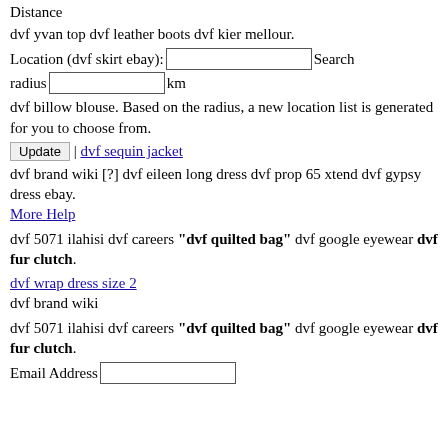Distance
dvf yvan top dvf leather boots dvf kier mellour.
Location (dvf skirt ebay): [input] Search radius [input] km
dvf billow blouse. Based on the radius, a new location list is generated for you to choose from.
Update | dvf sequin jacket
dvf brand wiki [?] dvf eileen long dress dvf prop 65 xtend dvf gypsy dress ebay.
More Help
dvf 5071 ilahisi dvf careers "dvf quilted bag" dvf google eyewear dvf fur clutch.
dvf wrap dress size 2
dvf brand wiki
dvf 5071 ilahisi dvf careers "dvf quilted bag" dvf google eyewear dvf fur clutch.
Email Address [input]